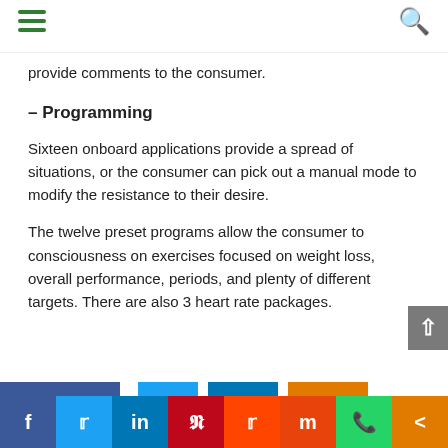provide comments to the consumer.
– Programming
Sixteen onboard applications provide a spread of situations, or the consumer can pick out a manual mode to modify the resistance to their desire.
The twelve preset programs allow the consumer to consciousness on exercises focused on weight loss, overall performance, periods, and plenty of different targets. There are also 3 heart rate packages.